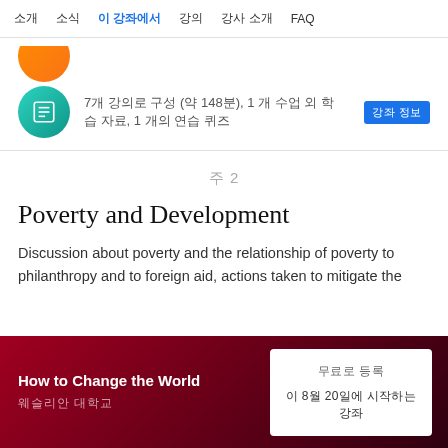소개   소식   이 강좌에서   강의   강사 소개   FAQ
[Figure (illustration): Orange circle icon (partial)]
7개 강의로 구성 (약 148분), 1 개 수업 외 학습 자료, 1 개의 연습 퀴즈   강좌 정보
주 2
Poverty and Development
Discussion about poverty and the relationship of poverty to philanthropy and to foreign aid, actions taken to mitigate the
How to Change the World
웨슬리안 대학교
무료로 등록
이 8월 20일에 시작하는 강좌